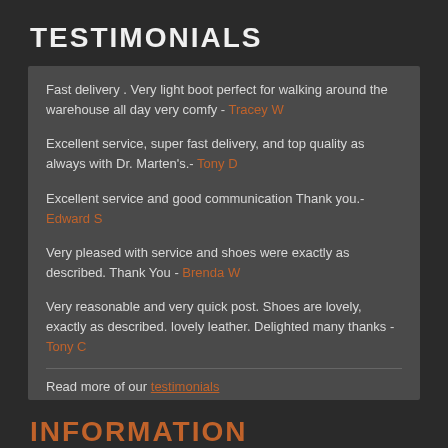TESTIMONIALS
Fast delivery . Very light boot perfect for walking around the warehouse all day very comfy - Tracey W
Excellent service, super fast delivery, and top quality as always with Dr. Marten's.- Tony D
Excellent service and good communication Thank you.- Edward S
Very pleased with service and shoes were exactly as described. Thank You - Brenda W
Very reasonable and very quick post. Shoes are lovely, exactly as described. lovely leather. Delighted many thanks - Tony C
Read more of our testimonials
INFORMATION